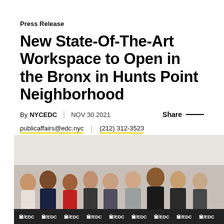Press Release
New State-Of-The-Art Workspace to Open in the Bronx in Hunts Point Neighborhood
By NYCEDC | NOV 30 2021    Share —
publicaffairs@edc.nyc   |   (212) 312-3523
[Figure (photo): Group photo of approximately 9-10 people standing together smiling at a ribbon-cutting or opening event, with EDC branded ribbons/banners visible in the foreground.]